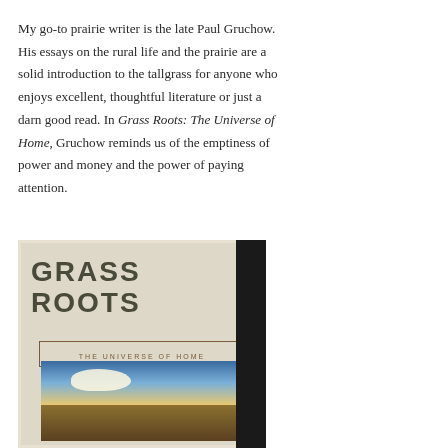My go-to prairie writer is the late Paul Gruchow. His essays on the rural life and the prairie are a solid introduction to the tallgrass for anyone who enjoys excellent, thoughtful literature or just a darn good read. In Grass Roots: The Universe of Home, Gruchow reminds us of the emptiness of power and money and the power of paying attention.
[Figure (photo): Photo of the book cover of 'Grass Roots: The Universe of Home' by Paul Gruchow, showing large blocky title text 'GRASS ROOTS' and subtitle 'THE UNIVERSE OF HOME', with a prairie landscape image on the cover, photographed against a dark background.]